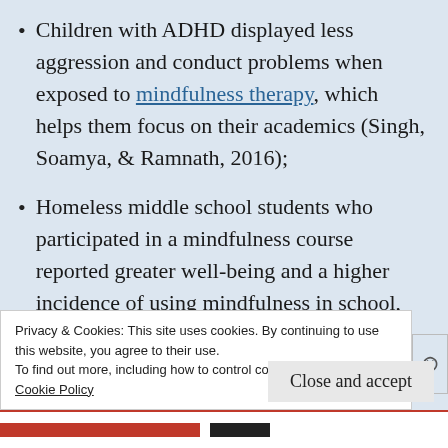Children with ADHD displayed less aggression and conduct problems when exposed to mindfulness therapy, which helps them focus on their academics (Singh, Soamya, & Ramnath, 2016);
Homeless middle school students who participated in a mindfulness course reported greater well-being and a higher incidence of using mindfulness in school,
Privacy & Cookies: This site uses cookies. By continuing to use this website, you agree to their use.
To find out more, including how to control cookies, see here:
Cookie Policy
Close and accept